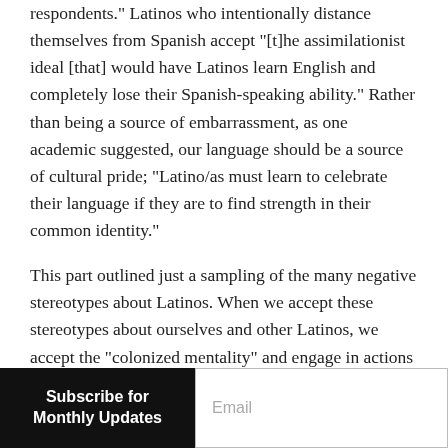respondents." Latinos who intentionally distance themselves from Spanish accept "[t]he assimilationist ideal [that] would have Latinos learn English and completely lose their Spanish-speaking ability." Rather than being a source of embarrassment, as one academic suggested, our language should be a source of cultural pride; "Latino/as must learn to celebrate their language if they are to find strength in their common identity."
This part outlined just a sampling of the many negative stereotypes about Latinos. When we accept these stereotypes about ourselves and other Latinos, we accept the "colonized mentality" and engage in actions consistent with internalized racism. These actions are harmful in and of themselves, and the consequences
Subscribe for Monthly Updates
Email